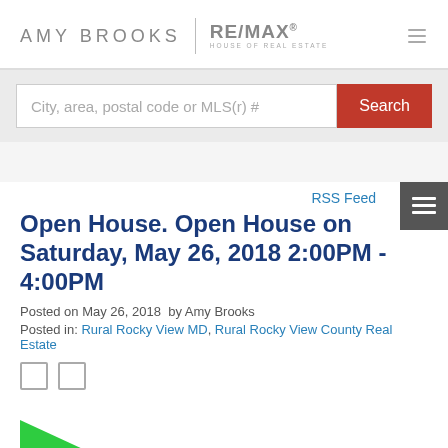AMY BROOKS | RE/MAX HOUSE OF REAL ESTATE
[Figure (screenshot): Search bar with placeholder text 'City, area, postal code or MLS(r) #' and a red Search button]
RSS Feed
Open House. Open House on Saturday, May 26, 2018 2:00PM - 4:00PM
Posted on May 26, 2018  by Amy Brooks
Posted in: Rural Rocky View MD, Rural Rocky View County Real Estate
[Figure (illustration): Open House banner/ribbon graphic in green]